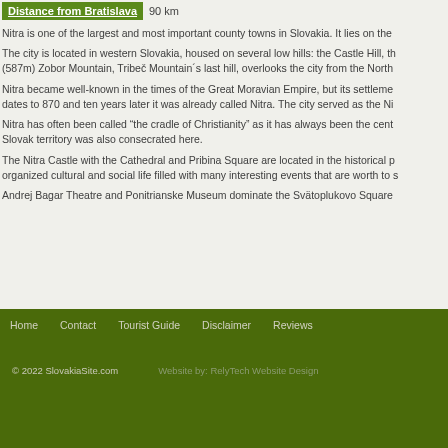| Distance from Bratislava |  |
| --- | --- |
|  | 90 km |
Nitra is one of the largest and most important county towns in Slovakia. It lies on the
The city is located in western Slovakia, housed on several low hills: the Castle Hill, th (587m) Zobor Mountain, Tribeč Mountain´s last hill, overlooks the city from the North
Nitra became well-known in the times of the Great Moravian Empire, but its settleme dates to 870 and ten years later it was already called Nitra. The city served as the Ni
Nitra has often been called “the cradle of Christianity” as it has always been the cent Slovak territory was also consecrated here.
The Nitra Castle with the Cathedral and Pribina Square are located in the historical p organized cultural and social life filled with many interesting events that are worth to s
Andrej Bagar Theatre and Ponitrianske Museum dominate the Svätoplukovo Square
Home   Contact   Tourist Guide   Disclaimer   Reviews
© 2022 SlovakiaSite.com   Website by: RelyTech Website Design